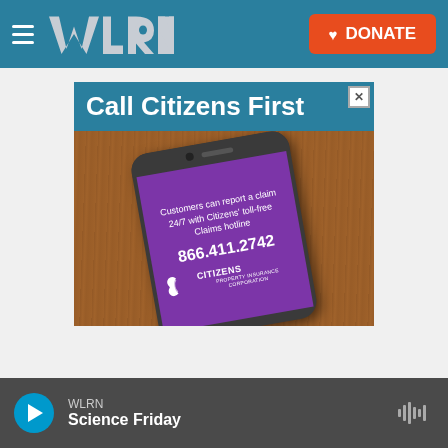WLRN | DONATE
[Figure (screenshot): Citizens Property Insurance Corporation advertisement. Blue header reading 'Call Citizens First' with a close button. Shows a smartphone with purple screen displaying text: 'Customers can report a claim 24/7 with Citizens' toll-free Claims hotline 866.411.2742' and the Citizens logo, placed on a wooden surface background.]
WLRN Science Friday